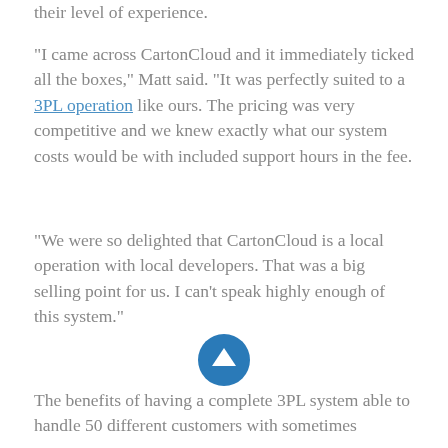their level of experience.
“I came across CartonCloud and it immediately ticked all the boxes,” Matt said. “It was perfectly suited to a 3PL operation like ours. The pricing was very competitive and we knew exactly what our system costs would be with included support hours in the fee.
“We were so delighted that CartonCloud is a local operation with local developers. That was a big selling point for us. I can’t speak highly enough of this system.”
The benefits of having a complete 3PL system able to handle 50 different customers with sometimes